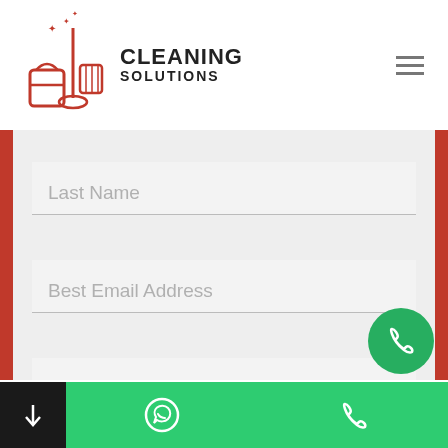[Figure (logo): Cleaning Solutions logo with red cleaning equipment icon and bold text reading CLEANING SOLUTIONS]
[Figure (screenshot): Website form section with Last Name, Best Email Address, and Best Phone Number input fields on a light grey background with red vertical stripes on sides]
We use cookies on our website to give you the most relevant experience by remembering your preferences and repeat visits. By clicking “Accept All”, you consent to the use of ALL the cookies. However, you may visit "Cookie Settings" to provide a controlled consent.
[Figure (screenshot): Cookie Settings and Accept All buttons]
[Figure (screenshot): Green bottom navigation bar with black left section, WhatsApp icon, and phone icon; green circular phone FAB button]